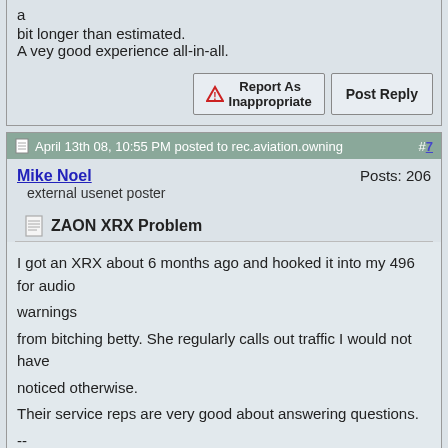a
bit longer than estimated.
A vey good experience all-in-all.
Report As Inappropriate | Post Reply
April 13th 08, 10:55 PM posted to rec.aviation.owning #7
Mike Noel
external usenet poster
Posts: 206
ZAON XRX Problem
I got an XRX about 6 months ago and hooked it into my 496 for audio warnings
from bitching betty. She regularly calls out traffic I would not have noticed otherwise.
Their service reps are very good about answering questions.
--
Best Regards,
Mike

http://photoshow.comcast.net/mikenoel